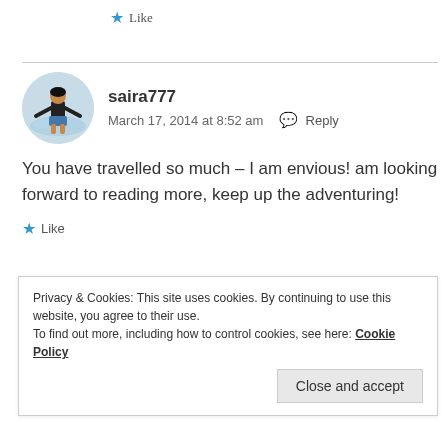★ Like
[Figure (photo): Circular avatar photo of a person standing in water, back to camera, wearing black top and blue shorts]
saira777
March 17, 2014 at 8:52 am  💬 Reply
You have travelled so much – I am envious! am looking forward to reading more, keep up the adventuring!
★ Like
Privacy & Cookies: This site uses cookies. By continuing to use this website, you agree to their use.
To find out more, including how to control cookies, see here: Cookie Policy
Close and accept